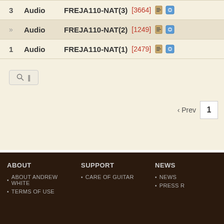3  Audio  FREJA110-NAT(3)  [3664]
»  Audio  FREJA110-NAT(2)  [1249]
1  Audio  FREJA110-NAT(1)  [2479]
‹ Prev  1
ABOUT  ABOUT ANDREW WHITE  TERMS OF USE  SUPPORT  CARE OF GUITAR  NEWS  NEWS  PRESS R